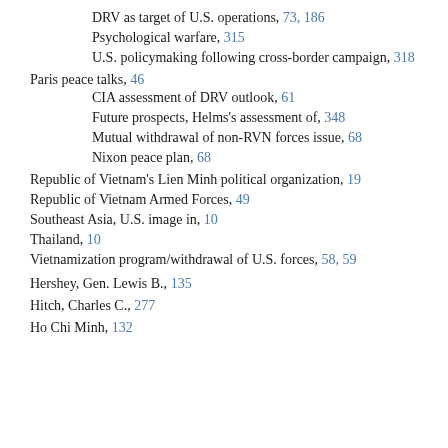DRV as target of U.S. operations, 73, 186
Psychological warfare, 315
U.S. policymaking following cross-border campaign, 318
Paris peace talks, 46
CIA assessment of DRV outlook, 61
Future prospects, Helms's assessment of, 348
Mutual withdrawal of non-RVN forces issue, 68
Nixon peace plan, 68
Republic of Vietnam's Lien Minh political organization, 19
Republic of Vietnam Armed Forces, 49
Southeast Asia, U.S. image in, 10
Thailand, 10
Vietnamization program/withdrawal of U.S. forces, 58, 59
Hershey, Gen. Lewis B., 135
Hitch, Charles C., 277
Ho Chi Minh, 132